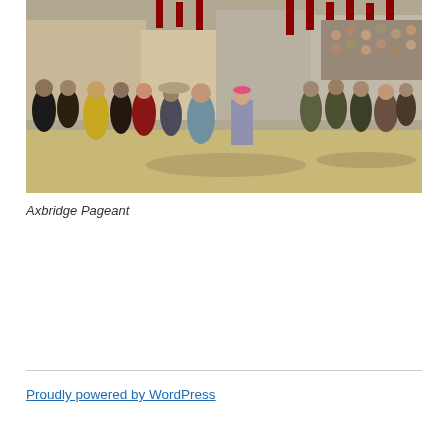[Figure (photo): A large crowd of people in historical costumes gathered in a town square, with red flags/banners visible in the background. The Axbridge Pageant event showing participants dressed in period clothing from various eras.]
Axbridge Pageant
Proudly powered by WordPress